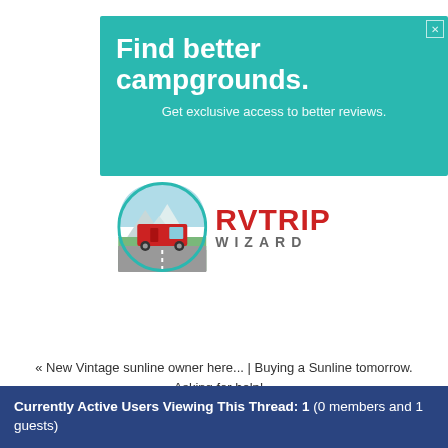[Figure (infographic): Teal/turquoise advertisement banner reading 'Find better campgrounds. Get exclusive access to better reviews.' with a close (X) button in the top right corner.]
[Figure (logo): RV Trip Wizard logo: circular icon with a red RV on a road with mountains, next to bold red text 'RVTRIP' and gray text 'WIZARD' below.]
New Reply
« New Vintage sunline owner here... | Buying a Sunline tomorrow. Asking for help! »
Currently Active Users Viewing This Thread: 1 (0 members and 1 guests)